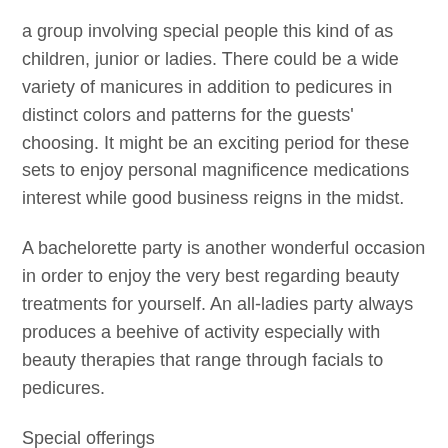a group involving special people this kind of as children, junior or ladies. There could be a wide variety of manicures in addition to pedicures in distinct colors and patterns for the guests' choosing. It might be an exciting period for these sets to enjoy personal magnificence medications interest while good business reigns in the midst.
A bachelorette party is another wonderful occasion in order to enjoy the very best regarding beauty treatments for yourself. An all-ladies party always produces a beehive of activity especially with beauty therapies that range through facials to pedicures.
Special offerings
It is interesting in order to note the diverse skills and sites that you can get by professional mobile beauticians who are competed in house magnificence medications. House calls on these kinds of services